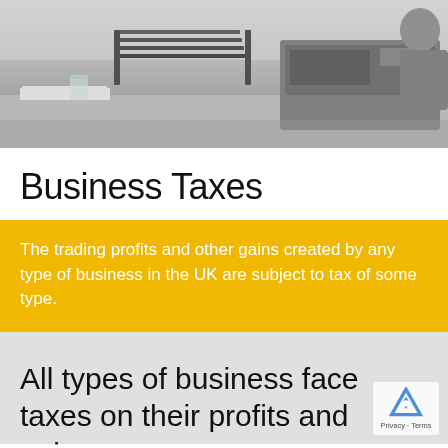[Figure (photo): Black and white office scene showing a desk with stacked document trays, papers, and a person in the background]
Business Taxes
The trading profits and other gains created by any type of business in the UK are subject to tax of some type.
All types of business face taxes on their profits and gains.